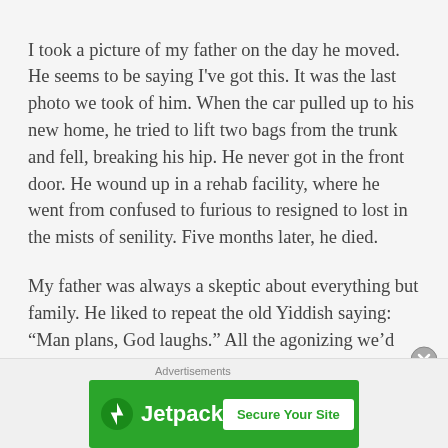I took a picture of my father on the day he moved. He seems to be saying I've got this. It was the last photo we took of him. When the car pulled up to his new home, he tried to lift two bags from the trunk and fell, breaking his hip. He never got in the front door. He wound up in a rehab facility, where he went from confused to furious to resigned to lost in the mists of senility. Five months later, he died.
My father was always a skeptic about everything but family. He liked to repeat the old Yiddish saying: “Man plans, God laughs.” All the agonizing we’d done, all the arrangements we’d made were as effective as trying to fix gadgets with duct tape. Not long ago, I looked up
Advertisements
[Figure (screenshot): Jetpack advertisement banner with green background, Jetpack logo and icon on the left, and a 'Secure Your Site' button on the right]